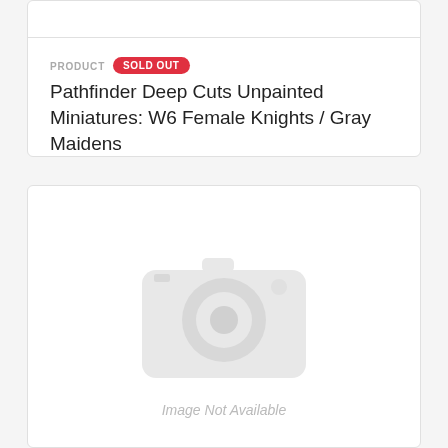PRODUCT  SOLD OUT
Pathfinder Deep Cuts Unpainted Miniatures: W6 Female Knights / Gray Maidens
[Figure (photo): Image Not Available placeholder with camera icon]
PRODUCT  SOLD OUT
Air Elemental WizKids Deep Cuts Unpainted